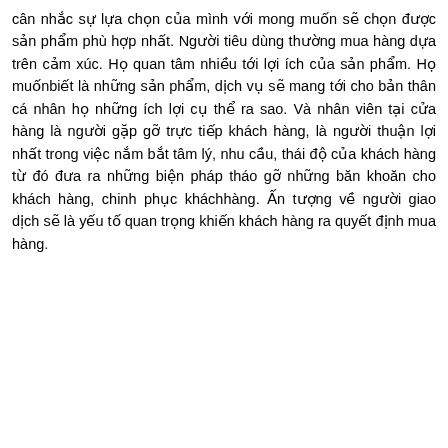cân nhắc sự lựa chọn của mình với mong muốn sẽ chọn được sản phẩm phù hợp nhất. Người tiêu dùng thường mua hàng dựa trên cảm xúc. Họ quan tâm nhiều tới lợi ích của sản phẩm. Họ muốnbiết là những sản phẩm, dịch vụ sẽ mang tới cho bản thân cá nhân họ những ích lợi cụ thể ra sao. Và nhân viên tại cửa hàng là người gặp gỡ trực tiếp khách hàng, là người thuận lợi nhất trong việc nắm bắt tâm lý, nhu cầu, thái độ của khách hàng từ đó đưa ra những biện pháp tháo gỡ những băn khoăn cho khách hàng, chinh phục kháchhàng. Ấn tượng về người giao dịch sẽ là yếu tố quan trọng khiến khách hàng ra quyết định mua hàng.